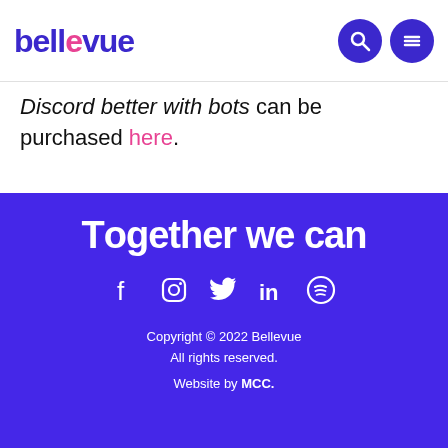bellevue
Discord better with bots can be purchased here.
[Figure (logo): Footer with 'Together we can' slogan, social media icons (Facebook, Instagram, Twitter, LinkedIn, Spotify), copyright notice, and website credit]
Copyright © 2022 Bellevue
All rights reserved.
Website by MCC.